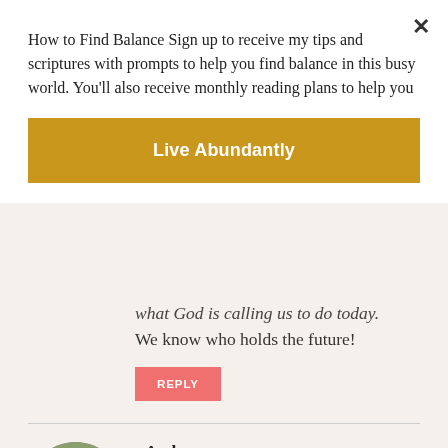How to Find Balance Sign up to receive my tips and scriptures with prompts to help you find balance in this busy world. You'll also receive monthly reading plans to help you
[Figure (other): Golden-yellow call-to-action button labeled 'Live Abundantly']
what God is calling us to do today. We know who holds the future!
[Figure (other): Pink REPLY button]
Andy
March 2, 2017
[Figure (photo): Circular avatar photo of a woman with dark hair and glasses wearing a denim vest]
Yay! That has helped me for a long time. Just do what you can do and leave the tomorrow and all it entails